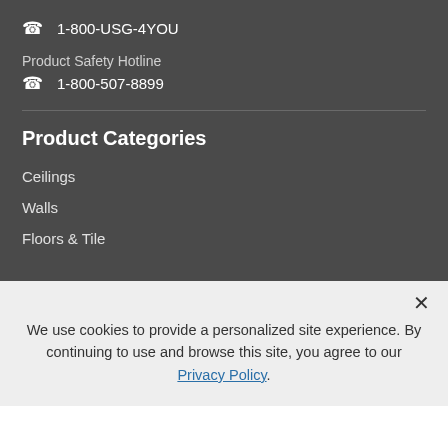📞 1-800-USG-4YOU
Product Safety Hotline
📞 1-800-507-8899
Product Categories
Ceilings
Walls
Floors & Tile
We use cookies to provide a personalized site experience. By continuing to use and browse this site, you agree to our Privacy Policy.